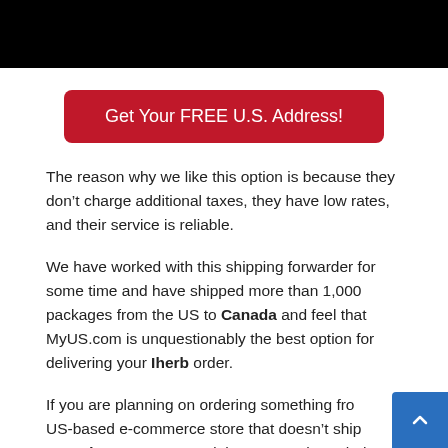[Figure (other): Black banner/header bar at top of page]
Get Your FREE U.S. Address!
The reason why we like this option is because they don’t charge additional taxes, they have low rates, and their service is reliable.
We have worked with this shipping forwarder for some time and have shipped more than 1,000 packages from the US to Canada and feel that MyUS.com is unquestionably the best option for delivering your Iherb order.
If you are planning on ordering something from a US-based e-commerce store that doesn’t ship to Canada, we recommend that you go through the